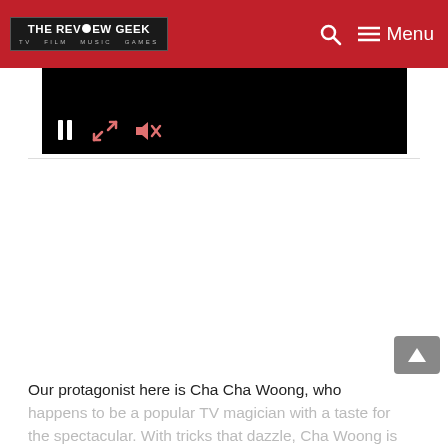THE REVIEW GEEK — TV  FILM  MUSIC  GAMES
[Figure (screenshot): Video player with black screen showing media controls: pause button, expand/fullscreen icon, and mute/volume icon in the lower-left area]
Our protagonist here is Cha Cha Woong, who happens to be a popular TV magician with a taste for the spectacular. With tricks that dazzle, Cha Woong is